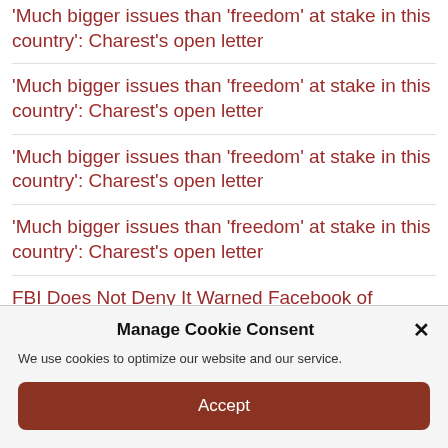'Much bigger issues than 'freedom' at stake in this country': Charest's open letter
'Much bigger issues than 'freedom' at stake in this country': Charest's open letter
'Much bigger issues than 'freedom' at stake in this country': Charest's open letter
'Much bigger issues than 'freedom' at stake in this country': Charest's open letter
FBI Does Not Deny It Warned Facebook of Imminent 'Dump'
Manage Cookie Consent
We use cookies to optimize our website and our service.
Accept